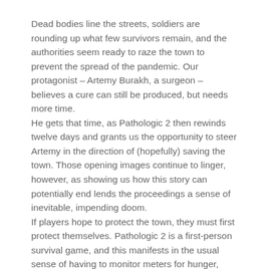Dead bodies line the streets, soldiers are rounding up what few survivors remain, and the authorities seem ready to raze the town to prevent the spread of the pandemic. Our protagonist – Artemy Burakh, a surgeon – believes a cure can still be produced, but needs more time.
He gets that time, as Pathologic 2 then rewinds twelve days and grants us the opportunity to steer Artemy in the direction of (hopefully) saving the town. Those opening images continue to linger, however, as showing us how this story can potentially end lends the proceedings a sense of inevitable, impending doom.
If players hope to protect the town, they must first protect themselves. Pathologic 2 is a first-person survival game, and this manifests in the usual sense of having to monitor meters for hunger, thirst, energy, and so forth. But whereas most